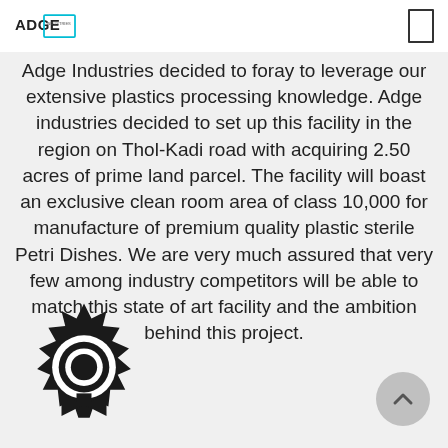ADGE Industries
Adge Industries decided to foray to leverage our extensive plastics processing knowledge. Adge industries decided to set up this facility in the region on Thol-Kadi road with acquiring 2.50 acres of prime land parcel. The facility will boast an exclusive clean room area of class 10,000 for manufacture of premium quality plastic sterile Petri Dishes. We are very much assured that very few among industry competitors will be able to match this state of art facility and the ambition behind this project.
[Figure (illustration): Award/ribbon medal icon in black and white, partially visible at bottom left]
[Figure (other): Scroll-to-top button circle with upward chevron arrow, grey, bottom right]